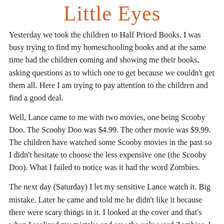Little Eyes
Yesterday we took the children to Half Priced Books. I was busy trying to find my homeschooling books and at the same time had the children coming and showing me their books, asking questions as to which one to get because we couldn't get them all. Here I am trying to pay attention to the children and find a good deal.
Well, Lance came to me with two movies, one being Scooby Doo. The Scooby Doo was $4.99. The other movie was $9.99. The children have watched some Scooby movies in the past so I didn't hesitate to choose the less expensive one (the Scooby Doo). What I failed to notice was it had the word Zombies.
The next day (Saturday) I let my sensitive Lance watch it. Big mistake. Later he came and told me he didn't like it because there were scary things in it. I looked at the cover and that's when I realized my mistake and saw the ugly word Zombies. I told Lance, that we can sell it and